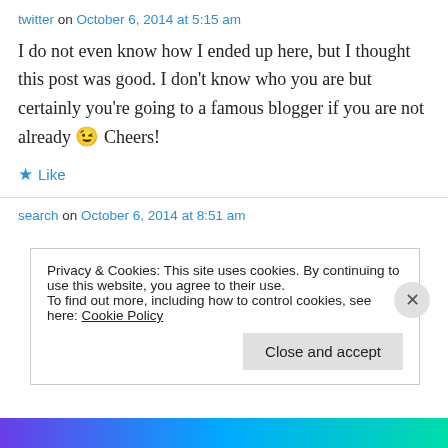twitter on October 6, 2014 at 5:15 am
I do not even know how I ended up here, but I thought this post was good. I don't know who you are but certainly you're going to a famous blogger if you are not already 😉 Cheers!
★ Like
search on October 6, 2014 at 8:51 am
Privacy & Cookies: This site uses cookies. By continuing to use this website, you agree to their use. To find out more, including how to control cookies, see here: Cookie Policy
Close and accept